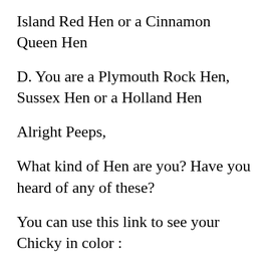Island Red Hen or a Cinnamon Queen Hen
D. You are a Plymouth Rock Hen, Sussex Hen or a Holland Hen
Alright Peeps,
What kind of Hen are you? Have you heard of any of these?
You can use this link to see your Chicky in color :